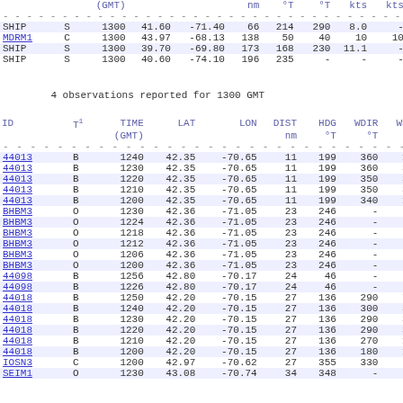| ID | T1 | TIME (GMT) | LAT | LON | DIST nm | HDG °T | WDIR °T | WSPD kts | GST kts | WVHT f |
| --- | --- | --- | --- | --- | --- | --- | --- | --- | --- | --- |
| SHIP | S | 1300 | 41.60 | -71.40 | 66 | 214 | 290 | 8.0 | - |  |
| MDRM1 | C | 1300 | 43.97 | -68.13 | 138 | 50 | 40 | 10 | 10 |  |
| SHIP | S | 1300 | 39.70 | -69.80 | 173 | 168 | 230 | 11.1 | - |  |
| SHIP | S | 1300 | 40.60 | -74.10 | 196 | 235 | - | - | - |  |
4 observations reported for 1300 GMT
| ID | T1 | TIME (GMT) | LAT | LON | DIST nm | HDG °T | WDIR °T | WSPD kts | GST kts | WVHT f |
| --- | --- | --- | --- | --- | --- | --- | --- | --- | --- | --- |
| 44013 | B | 1240 | 42.35 | -70.65 | 11 | 199 | 360 | 1.9 | 1.9 | 1. |
| 44013 | B | 1230 | 42.35 | -70.65 | 11 | 199 | 360 | 3.9 | 3.9 |  |
| 44013 | B | 1220 | 42.35 | -70.65 | 11 | 199 | 350 | 3.9 | 3.9 |  |
| 44013 | B | 1210 | 42.35 | -70.65 | 11 | 199 | 350 | 3.9 | 3.9 |  |
| 44013 | B | 1200 | 42.35 | -70.65 | 11 | 199 | 340 | 1.9 | 3.9 |  |
| BHBM3 | O | 1230 | 42.36 | -71.05 | 23 | 246 | - | - | - |  |
| BHBM3 | O | 1224 | 42.36 | -71.05 | 23 | 246 | - | - | - |  |
| BHBM3 | O | 1218 | 42.36 | -71.05 | 23 | 246 | - | - | - |  |
| BHBM3 | O | 1212 | 42.36 | -71.05 | 23 | 246 | - | - | - |  |
| BHBM3 | O | 1206 | 42.36 | -71.05 | 23 | 246 | - | - | - |  |
| BHBM3 | O | 1200 | 42.36 | -71.05 | 23 | 246 | - | - | - |  |
| 44098 | B | 1256 | 42.80 | -70.17 | 24 | 46 | - | - | - | 2.0 |
| 44098 | B | 1226 | 42.80 | -70.17 | 24 | 46 | - | - | - | 2.0 |
| 44018 | B | 1250 | 42.20 | -70.15 | 27 | 136 | 290 | 7.8 | 7.8 | 2.0 |
| 44018 | B | 1240 | 42.20 | -70.15 | 27 | 136 | 300 | 5.8 | 7.8 | 2.0 |
| 44018 | B | 1230 | 42.20 | -70.15 | 27 | 136 | 290 | 3.9 | 5.8 |  |
| 44018 | B | 1220 | 42.20 | -70.15 | 27 | 136 | 290 | 3.9 | 5.8 |  |
| 44018 | B | 1210 | 42.20 | -70.15 | 27 | 136 | 270 | 1.9 | 3.9 |  |
| 44018 | B | 1200 | 42.20 | -70.15 | 27 | 136 | 180 | 1.9 | 3.9 |  |
| IOSN3 | C | 1200 | 42.97 | -70.62 | 27 | 355 | 330 | 4 | 4 |  |
| SEIM1 | O | 1230 | 43.08 | -70.74 | 34 | 348 | - | - | - |  |